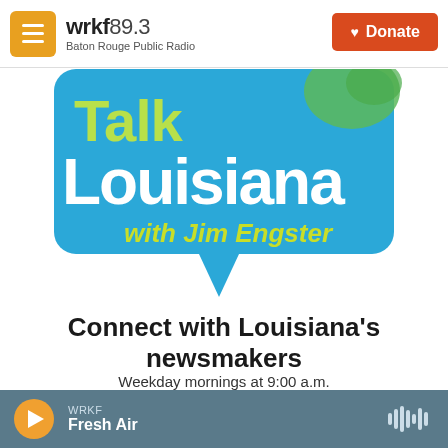wrkf89.3 Baton Rouge Public Radio | Donate
[Figure (logo): Talk Louisiana with Jim Engster speech bubble logo on blue background with green and yellow text]
Connect with Louisiana's newsmakers
Weekday mornings at 9:00 a.m.
Weekday evenings at 9:00 p.m.
WRKF Fresh Air